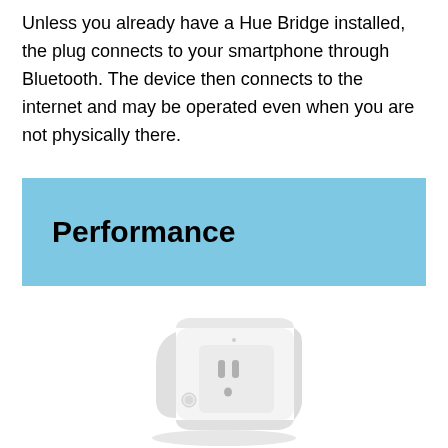Unless you already have a Hue Bridge installed, the plug connects to your smartphone through Bluetooth. The device then connects to the internet and may be operated even when you are not physically there.
Performance
[Figure (photo): A white smart plug device shown at a slight angle, with a standard US outlet face (two vertical slots and a ground pin hole), a small circular button on the front, and a rounded rectangular body.]